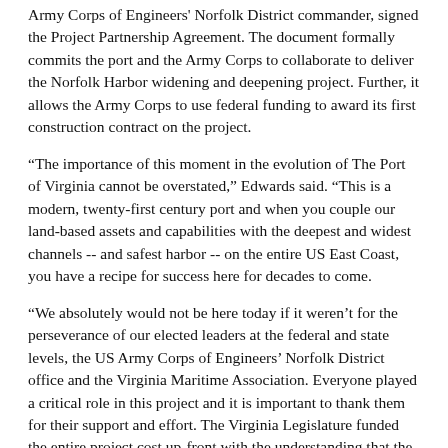Army Corps of Engineers' Norfolk District commander, signed the Project Partnership Agreement. The document formally commits the port and the Army Corps to collaborate to deliver the Norfolk Harbor widening and deepening project. Further, it allows the Army Corps to use federal funding to award its first construction contract on the project.
“The importance of this moment in the evolution of The Port of Virginia cannot be overstated,” Edwards said. “This is a modern, twenty-first century port and when you couple our land-based assets and capabilities with the deepest and widest channels -- and safest harbor -- on the entire US East Coast, you have a recipe for success here for decades to come.
“We absolutely would not be here today if it weren’t for the perseverance of our elected leaders at the federal and state levels, the US Army Corps of Engineers’ Norfolk District office and the Virginia Maritime Association. Everyone played a critical role in this project and it is important to thank them for their support and effort. The Virginia Legislature funded the entire project cost up-front with the understanding that the federal government would share half the cost. Today, we welcome federal government’s representatives who are here to finalize that commitment.”
The signing ceremony was attended by US Sen. Mark Warner (D-VA),